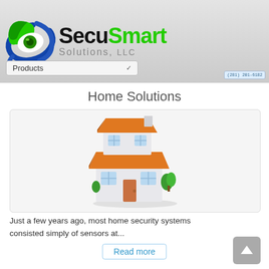[Figure (logo): SecuSmart Solutions LLC logo with green and blue eye icon, company name in black (Secu) and green (Smart), subtitle Solutions LLC in gray, phone number badge (281) 201-6182]
Products ∨
Home Solutions
[Figure (illustration): 3D illustration of a two-story house with orange/red roof and white walls, blue windows, small green plants]
Just a few years ago, most home security systems consisted simply of sensors at...
Read more